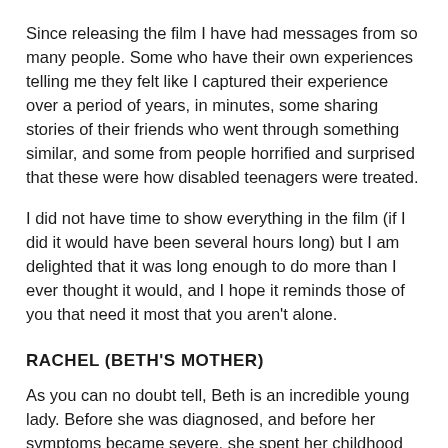Since releasing the film I have had messages from so many people. Some who have their own experiences telling me they felt like I captured their experience over a period of years, in minutes, some sharing stories of their friends who went through something similar, and some from people horrified and surprised that these were how disabled teenagers were treated.
I did not have time to show everything in the film (if I did it would have been several hours long) but I am delighted that it was long enough to do more than I ever thought it would, and I hope it reminds those of you that need it most that you aren't alone.
RACHEL (BETH'S MOTHER)
As you can no doubt tell, Beth is an incredible young lady. Before she was diagnosed, and before her symptoms became severe, she spent her childhood watching her elder brother struggle with misdiagnosis of his EDS and POTS. He was finally diagnosed